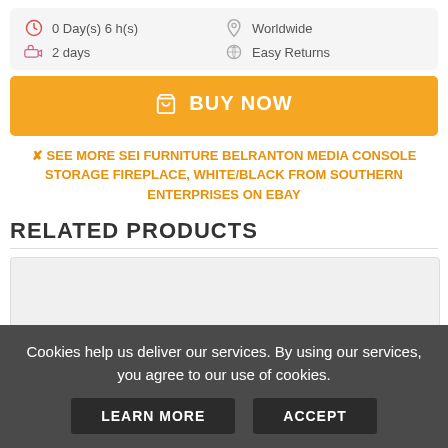0 Day(s) 6 h(s)  |  Worldwide  |  2 days  |  Easy Returns
BUY NOW
SEE MORE SEI FURNITURE BELRANTON MEDIA CONSOLE STORAGE FIREPLACE, WHITE/BLACK FROM SOUTHERN ENTERPRISES ON EBAY
RELATED PRODUCTS
[Figure (photo): Related product image placeholder (light gray box)]
Cookies help us deliver our services. By using our services, you agree to our use of cookies.
LEARN MORE  ACCEPT